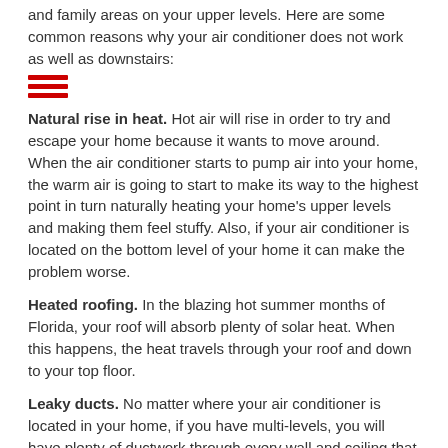and family areas on your upper levels. Here are some common reasons why your air conditioner does not work as well as downstairs:
[Figure (illustration): Red hamburger menu icon with three horizontal red bars]
Natural rise in heat. Hot air will rise in order to try and escape your home because it wants to move around. When the air conditioner starts to pump air into your home, the warm air is going to start to make its way to the highest point in turn naturally heating your home's upper levels and making them feel stuffy. Also, if your air conditioner is located on the bottom level of your home it can make the problem worse.
Heated roofing. In the blazing hot summer months of Florida, your roof will absorb plenty of solar heat. When this happens, the heat travels through your roof and down to your top floor.
Leaky ducts. No matter where your air conditioner is located in your home, if you have multi-levels, you will have plenty of ductwork through every wall and ceiling that needs to deliver air to every floor. Since there are ups, downs and turns located on every floor it is vital that the airflow of your ducts are not leaky and are well balanced.